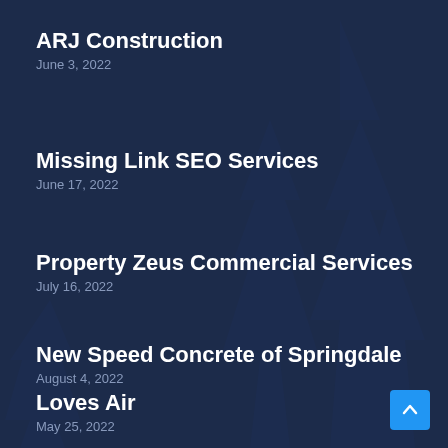ARJ Construction
June 3, 2022
Missing Link SEO Services
June 17, 2022
Property Zeus Commercial Services
July 16, 2022
New Speed Concrete of Springdale
August 4, 2022
Loves Air
May 25, 2022